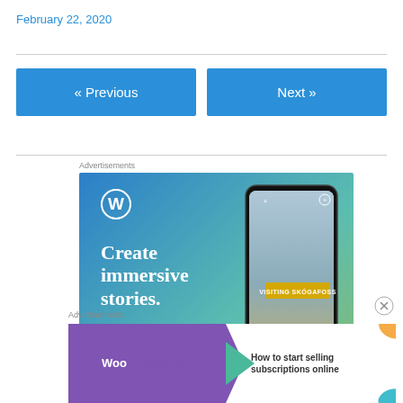February 22, 2020
« Previous
Next »
Advertisements
[Figure (illustration): WordPress advertisement showing 'Create immersive stories.' with WordPress logo and phone mockup showing 'VISITING SKÖGAFOSS']
Advertisements
[Figure (illustration): WooCommerce advertisement: 'How to start selling subscriptions online']